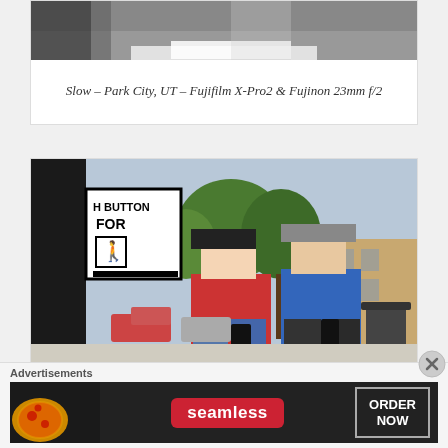[Figure (photo): Black and white photo showing a water stream or street scene in Park City, UT with crosswalk markings]
Slow – Park City, UT – Fujifilm X-Pro2 & Fujinon 23mm f/2
[Figure (photo): Color photo of two teenage boys looking at their phones on a sidewalk in Park City, UT. A pedestrian crossing sign is visible on the left, trees and buildings in the background.]
Advertisements
[Figure (photo): Seamless food delivery advertisement banner showing pizza slices on the left, Seamless logo in the center, and ORDER NOW button on the right]